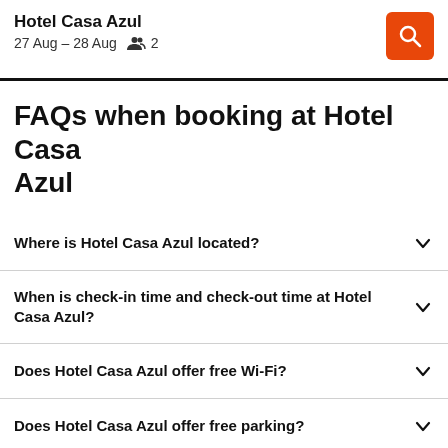Hotel Casa Azul
27 Aug – 28 Aug  👥 2
FAQs when booking at Hotel Casa Azul
Where is Hotel Casa Azul located?
When is check-in time and check-out time at Hotel Casa Azul?
Does Hotel Casa Azul offer free Wi-Fi?
Does Hotel Casa Azul offer free parking?
How far is Hotel Casa Azul from the airport?